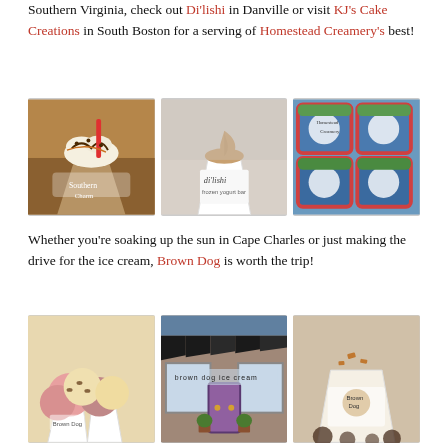Southern Virginia, check out Di'lishi in Danville or visit KJ's Cake Creations in South Boston for a serving of Homestead Creamery's best!
[Figure (photo): Three photos side by side: a sundae cup from Southern Charm, a frozen yogurt cup from di'lishi frozen yogurt bar, and stacked colorful ice cream pint containers.]
Whether you're soaking up the sun in Cape Charles or just making the drive for the ice cream, Brown Dog is worth the trip!
[Figure (photo): Three photos side by side: cups of scooped ice cream with Brown Dog branding, the Brown Dog Ice Cream storefront exterior, and a pint cup of ice cream with Brown Dog logo.]